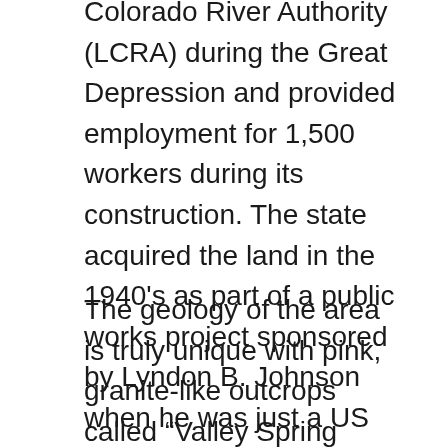Colorado River Authority (LCRA) during the Great Depression and provided employment for 1,500 workers during its construction. The state acquired the land in the 1940's as part of a public works project sponsored by Lyndon B. Johnson when he was just a US Congressman.
The geology of the area is truly unique with pink, granite-like outcrops called “Valley Spring Gneiss” pushing their way up through the surrounding limestone. These outcrops support a unique ecology of wildflowers, grasses, mosses and even ferns. Inks Lake State Park is a place that you could explore and photograph for years and never run out of interesting sights to see. In the springtime when the wildflowers bloom, the area comes alive